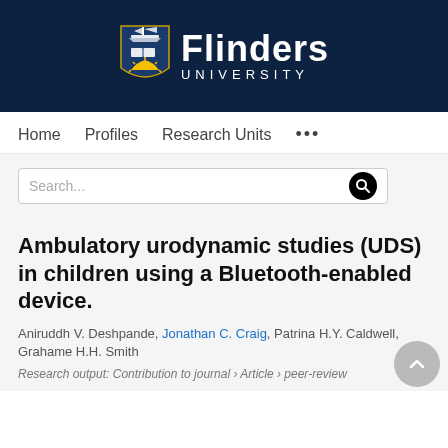[Figure (logo): Flinders University logo with shield and ship on dark navy background]
Home   Profiles   Research Units   ...
Search...
Ambulatory urodynamic studies (UDS) in children using a Bluetooth-enabled device.
Aniruddh V. Deshpande, Jonathan C. Craig, Patrina H.Y. Caldwell, Grahame H.H. Smith
Research output: Contribution to journal › Article › peer-review